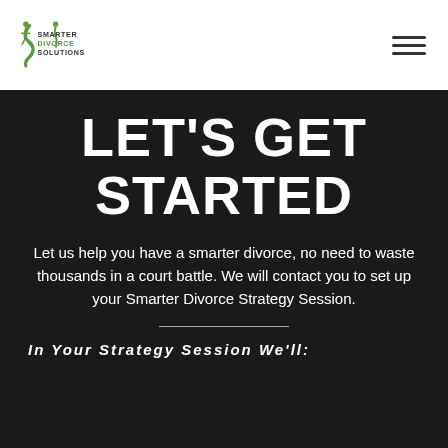[Figure (logo): Smarter Divorce Solutions logo with stylized figure and text]
LET'S GET STARTED
Let us help you have a smarter divorce, no need to waste thousands in a court battle. We will contact you to set up your Smarter Divorce Strategy Session.
In Your Strategy Session We'll: